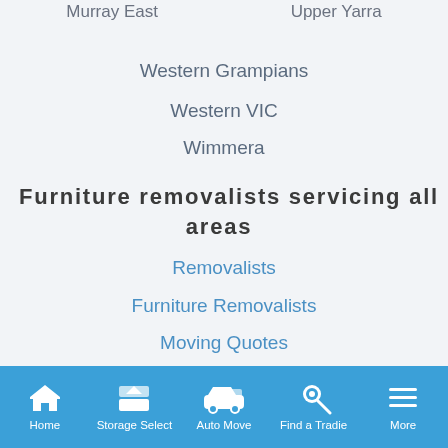Murray East    Upper Yarra
Western Grampians
Western VIC
Wimmera
Furniture removalists servicing all areas
Removalists
Furniture Removalists
Moving Quotes
Cheap Removalists
Home   Storage Select   Auto Move   Find a Tradie   More